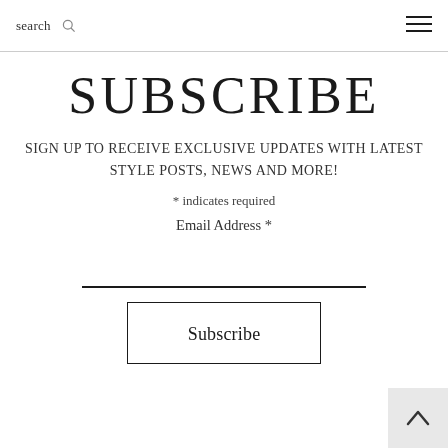search ☰
SUBSCRIBE
SIGN UP TO RECEIVE EXCLUSIVE UPDATES WITH LATEST STYLE POSTS, NEWS AND MORE!
* indicates required
Email Address *